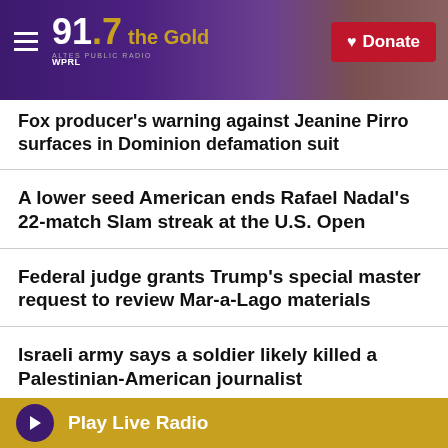WPRL 91.7 the Gold — Donate
Fox producer's warning against Jeanine Pirro surfaces in Dominion defamation suit
A lower seed American ends Rafael Nadal's 22-match Slam streak at the U.S. Open
Federal judge grants Trump's special master request to review Mar-a-Lago materials
Israeli army says a soldier likely killed a Palestinian-American journalist
Meet the Chechen battalion joining Ukraine to fight
Play Live Radio